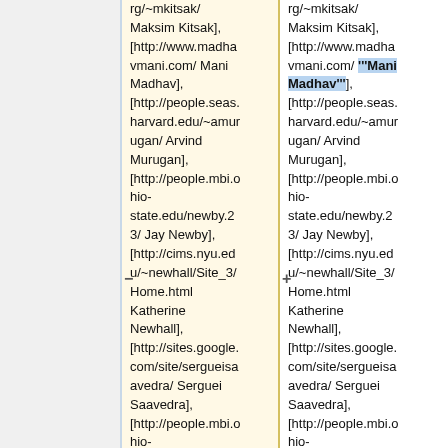rg/~mkitsak/ Maksim Kitsak], [http://www.madhavmani.com/ Mani Madhav], [http://people.seas.harvard.edu/~amurugan/ Arvind Murugan], [http://people.mbi.ohio-state.edu/newby.23/ Jay Newby], [http://cims.nyu.edu/~newhall/Site_3/Home.html Katherine Newhall], [http://sites.google.com/site/sergueisaavedra/ Serguei Saavedra], [http://people.mbi.ohio-
rg/~mkitsak/ Maksim Kitsak], [http://www.madhavmani.com/ '''Mani Madhav'''], [http://people.seas.harvard.edu/~amurugan/ Arvind Murugan], [http://people.mbi.ohio-state.edu/newby.23/ Jay Newby], [http://cims.nyu.edu/~newhall/Site_3/Home.html Katherine Newhall], [http://sites.google.com/site/sergueisaavedra/ Serguei Saavedra], [http://people.mbi.ohio-